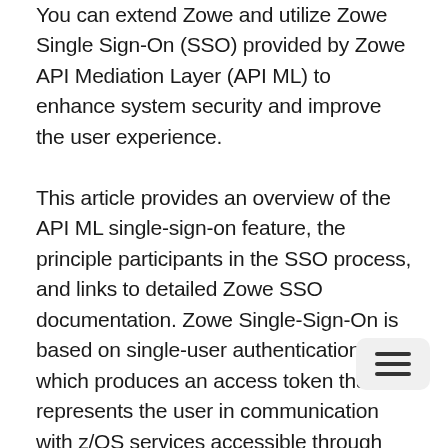You can extend Zowe and utilize Zowe Single Sign-On (SSO) provided by Zowe API Mediation Layer (API ML) to enhance system security and improve the user experience.
This article provides an overview of the API ML single-sign-on feature, the principle participants in the SSO process, and links to detailed Zowe SSO documentation. Zowe Single-Sign-On is based on single-user authentication which produces an access token that represents the user in communication with z/OS services accessible through the API Mediation Layer. The access token is issued by the Zowe Authentication and Authorization Service (ZAAS), which is part of API ML. ZAAS issues the access token based on valid z/OS credentials. This token can be validated by any component